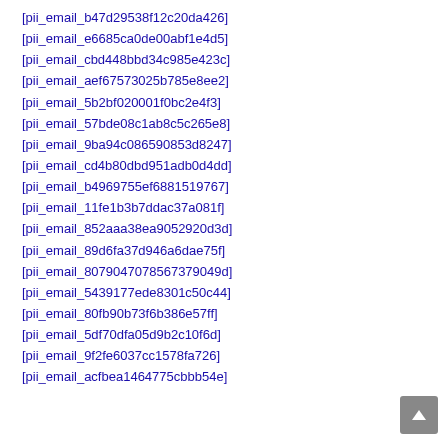[pii_email_b47d29538f12c20da426]
[pii_email_e6685ca0de00abf1e4d5]
[pii_email_cbd448bbd34c985e423c]
[pii_email_aef67573025b785e8ee2]
[pii_email_5b2bf020001f0bc2e4f3]
[pii_email_57bde08c1ab8c5c265e8]
[pii_email_9ba94c086590853d8247]
[pii_email_cd4b80dbd951adb0d4dd]
[pii_email_b4969755ef6881519767]
[pii_email_11fe1b3b7ddac37a081f]
[pii_email_852aaa38ea9052920d3d]
[pii_email_89d6fa37d946a6dae75f]
[pii_email_8079047078567379049d]
[pii_email_5439177ede8301c50c44]
[pii_email_80fb90b73f6b386e57ff]
[pii_email_5df70dfa05d9b2c10f6d]
[pii_email_9f2fe6037cc1578fa726]
[pii_email_acfbea1464775cbbb54e]